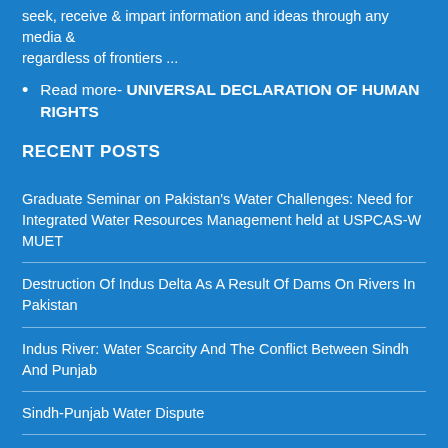seek, receive & impart information and ideas through any media & regardless of frontiers ...
Read more- UNIVERSAL DECLARATION OF HUMAN RIGHTS
RECENT POSTS
Graduate Seminar on Pakistan's Water Challenges: Need for Integrated Water Resources Management held at USPCAS-W MUET
Destruction Of Indus Delta As A Result Of Dams On Rivers In Pakistan
Indus River: Water Scarcity And The Conflict Between Sindh And Punjab
Sindh-Punjab Water Dispute
The role of women in Sindhi society